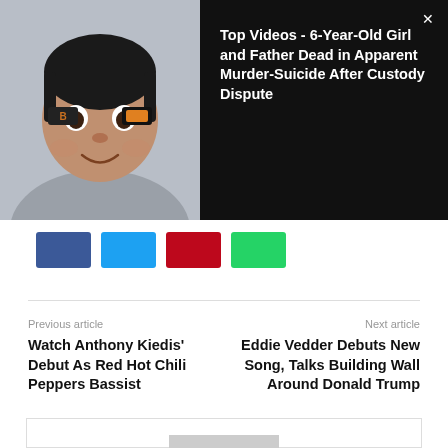[Figure (photo): Child with face paint stickers on cheeks, smiling, wearing gray jacket]
Top Videos - 6-Year-Old Girl and Father Dead in Apparent Murder-Suicide After Custody Dispute
[Figure (infographic): Social share buttons: Facebook (blue), Twitter (light blue), Pinterest (red), WhatsApp (green)]
Previous article
Watch Anthony Kiedis' Debut As Red Hot Chili Peppers Bassist
Next article
Eddie Vedder Debuts New Song, Talks Building Wall Around Donald Trump
[Figure (photo): Generic author avatar placeholder silhouette on gray background]